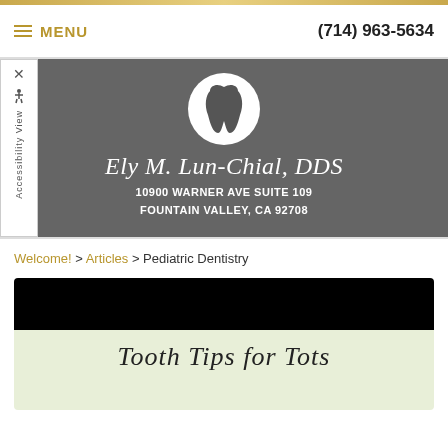MENU | (714) 963-5634
[Figure (logo): Ely M. Lun-Chial, DDS dental practice logo with tooth icon in white circle, practice name in italic script, and address: 10900 Warner Ave Suite 109, Fountain Valley, CA 92708 on gray background]
Welcome! > Articles > Pediatric Dentistry
[Figure (illustration): Tooth Tips for Tots article header image with black strip on top and light green background with handwritten-style text reading 'Tooth Tips for Tots']